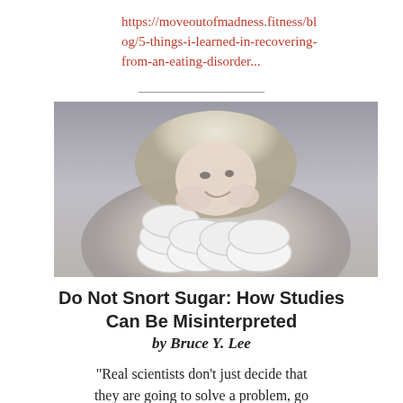https://moveoutofmadness.fitness/blog/5-things-i-learned-in-recovering-from-an-eating-disorder...
[Figure (photo): A woman with blonde hair leaning over a pile of white powdered donuts, holding one up near her nose and smiling, styled as a humorous/satirical photo about sugar addiction.]
Do Not Snort Sugar: How Studies Can Be Misinterpreted
by Bruce Y. Lee
"Real scientists don't just decide that they are going to solve a problem, go